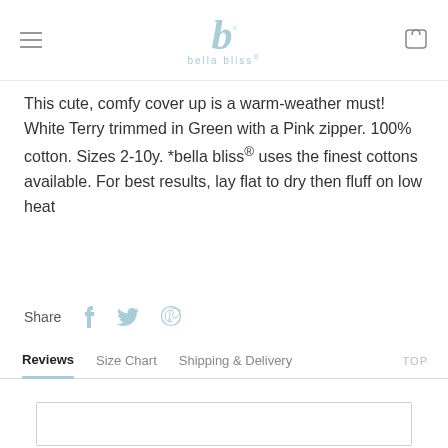bella bliss®
This cute, comfy cover up is a warm-weather must! White Terry trimmed in Green with a Pink zipper. 100% cotton. Sizes 2-10y. *bella bliss® uses the finest cottons available. For best results, lay flat to dry then fluff on low heat
Share
Reviews | Size Chart | Shipping & Delivery | TOP